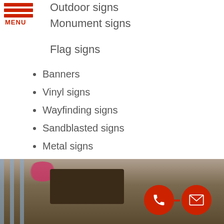Outdoor signs
Monument signs
Flag signs
Banners
Vinyl signs
Wayfinding signs
Sandblasted signs
Metal signs
Hanging signs
and much more!
Call Alpharetta Sign Company today at 470-486-7445 for a Free Consultation!
Highly Customizable Outdoor Signage
[Figure (photo): Outdoor sign with dark wooden structure, flowers and fence visible, with red phone and email contact buttons overlaid]